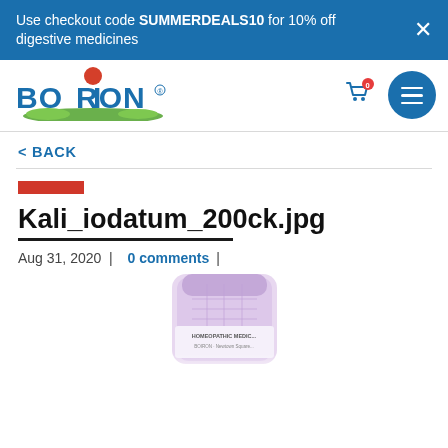Use checkout code SUMMERDEALS10 for 10% off digestive medicines
[Figure (logo): Boiron logo with red ball and green grass]
< BACK
[Figure (other): Red decorative bar]
Kali_iodatum_200ck.jpg
Aug 31, 2020  |  0 comments |
[Figure (photo): Boiron Kali iodatum 200ck homeopathic medicine tube/bottle with purple label]